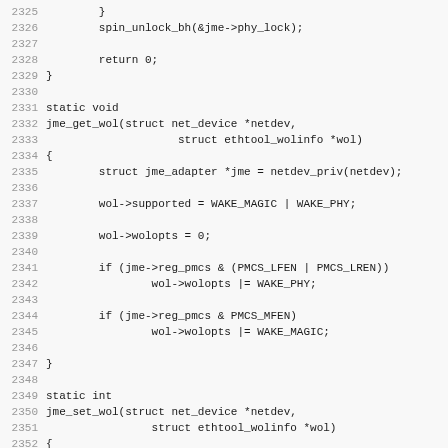[Figure (screenshot): Source code listing showing C functions jme_get_wol and jme_set_wol, lines 2325-2357]